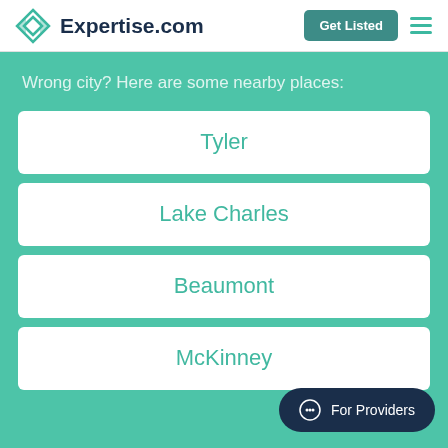Expertise.com
Wrong city? Here are some nearby places:
Tyler
Lake Charles
Beaumont
McKinney